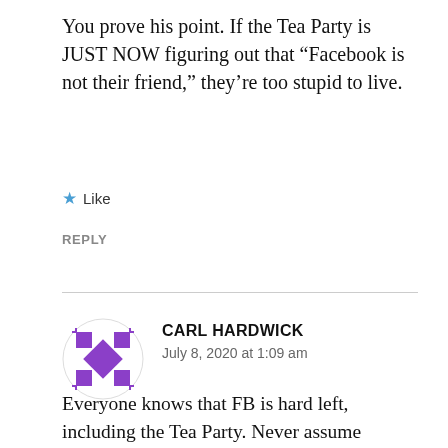You prove his point. If the Tea Party is JUST NOW figuring out that “Facebook is not their friend,” they’re too stupid to live.
★ Like
REPLY
CARL HARDWICK
July 8, 2020 at 1:09 am
Everyone knows that FB is hard left, including the Tea Party. Never assume someone is stupid. That includes leftists.
Before passing judgement on someone else, I